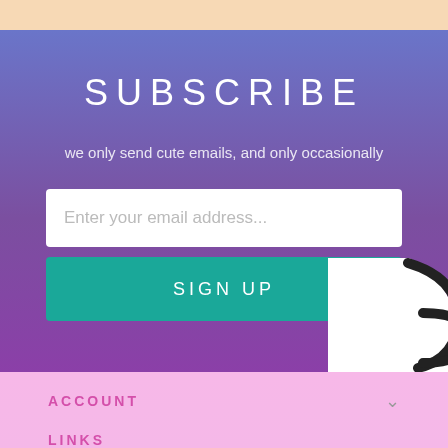SUBSCRIBE
we only send cute emails, and only occasionally
Enter your email address...
SIGN UP
ACCOUNT
LINKS